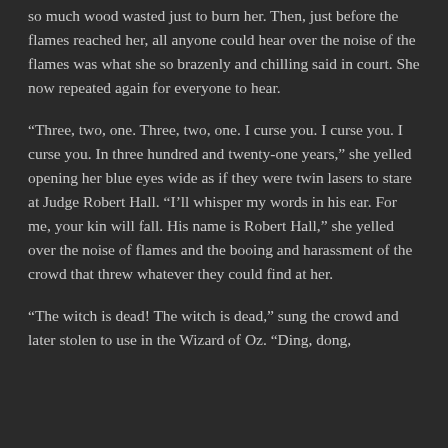so much wood wasted just to burn her. Then, just before the flames reached her, all anyone could hear over the noise of the flames was what she so brazenly and chilling said in court. She now repeated again for everyone to hear.
“Three, two, one. Three, two, one. I curse you. I curse you. I curse you. In three hundred and twenty-one years,” she yelled opening her blue eyes wide as if they were twin lasers to stare at Judge Robert Hall. “I’ll whisper my words in his ear. For me, your kin will fall. His name is Robert Hall,” she yelled over the noise of flames and the booing and harassment of the crowd that threw whatever they could find at her.
“The witch is dead! The witch is dead,” sung the crowd and later stolen to use in the Wizard of Oz. “Ding, dong,